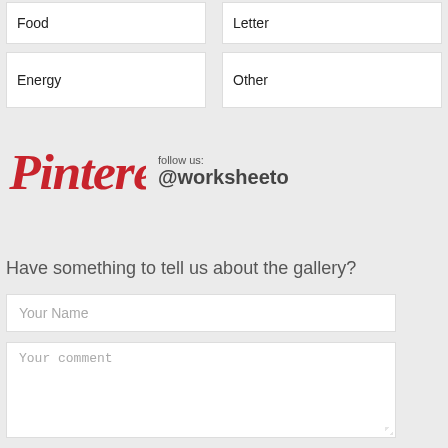Food
Letter
Energy
Other
[Figure (logo): Pinterest logo with 'follow us: @worksheeto' text]
Have something to tell us about the gallery?
Your Name
Your comment